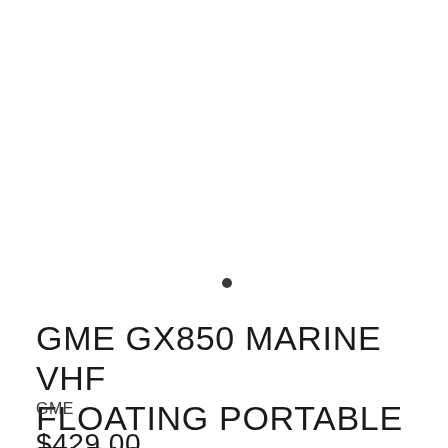[Figure (other): Small dark dot / bullet point indicator in the center of the page]
GME GX850 MARINE VHF FLOATING PORTABLE RADIO
GME
$429.00